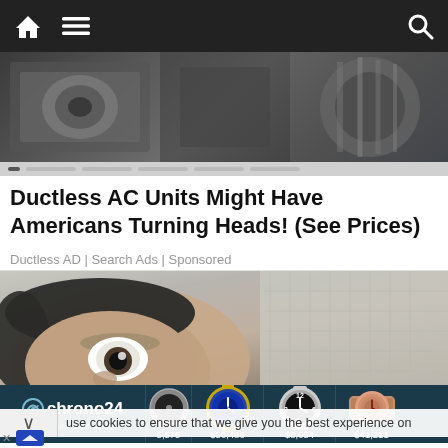Navigation bar with home icon, menu icon, search icon
[Figure (screenshot): Hero banner image showing ductless AC equipment, dark grey tones with blur effects and slider dots below]
Ductless AC Units Might Have Americans Turning Heads! (See Prices)
Ductless AD | Search Ads | Sponsored
[Figure (photo): Person with surprised/shocked expression looking up, face turned sideways showing wide eyes]
use cookies to ensure that we give you the best experience on
[Figure (screenshot): Chrono24 The World's Watch Market advertisement banner showing four luxury watches with prices: $5,575, $50,486, $8,054, $41,211]